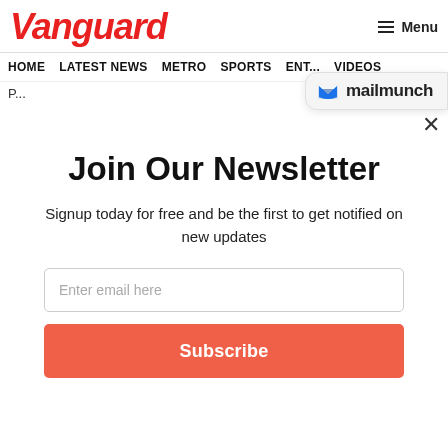Vanguard
≡ Menu
HOME   LATEST NEWS   METRO   SPORTS   ENTERTAINMENT   VIDEOS
[Figure (logo): Mailmunch logo badge with blue M icon and text 'mailmunch']
Join Our Newsletter
Signup today for free and be the first to get notified on new updates
Enter email here
Subscribe